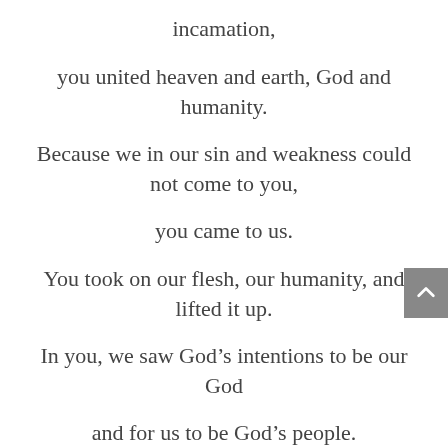incamation,
you united heaven and earth, God and humanity.
Because we in our sin and weakness could not come to you,
you came to us.
You took on our flesh, our humanity, and lifted it up.
In you, we saw God’s intentions to be our God
and for us to be God’s people.